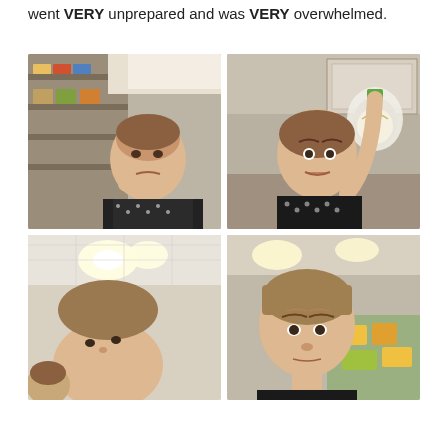went VERY unprepared and was VERY overwhelmed.
[Figure (photo): Woman in black and white patterned sweater looking overwhelmed in a grocery store aisle, resting her head on her hand.]
[Figure (photo): Woman in black and white patterned sweater holding up a bag containing an onion in a kitchen, making a funny face.]
[Figure (photo): Selfie of a person in a bright store, ceiling lights visible, partial view.]
[Figure (photo): Woman in a grocery store taking a selfie, store produce section visible in background.]